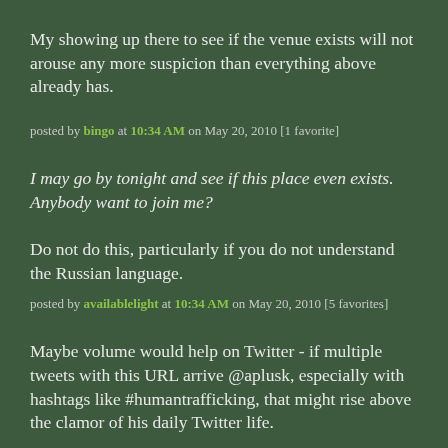My showing up there to see if the venue exists will not arouse any more suspicion than everything above already has.
posted by bingo at 10:34 AM on May 20, 2010 [1 favorite]
I may go by tonight and see if this place even exists. Anybody want to join me?
Do not do this, particularly if you do not understand the Russian language.
posted by availablelight at 10:34 AM on May 20, 2010 [5 favorites]
Maybe volume would help on Twitter - if multiple tweets with this URL arrive @aplusk, especially with hashtags like #humantrafficking, that might rise above the clamor of his daily Twitter life.